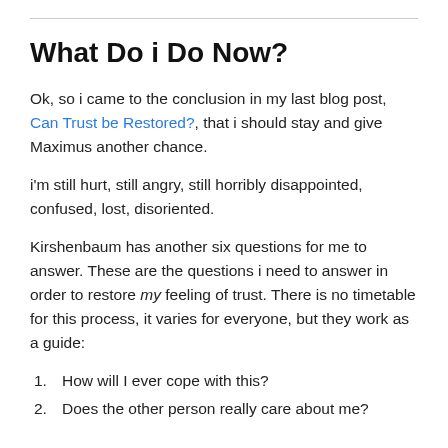What Do i Do Now?
Ok, so i came to the conclusion in my last blog post, Can Trust be Restored?, that i should stay and give Maximus another chance.
i'm still hurt, still angry, still horribly disappointed, confused, lost, disoriented.
Kirshenbaum has another six questions for me to answer. These are the questions i need to answer in order to restore my feeling of trust. There is no timetable for this process, it varies for everyone, but they work as a guide:
1. How will I ever cope with this?
2. Does the other person really care about me?